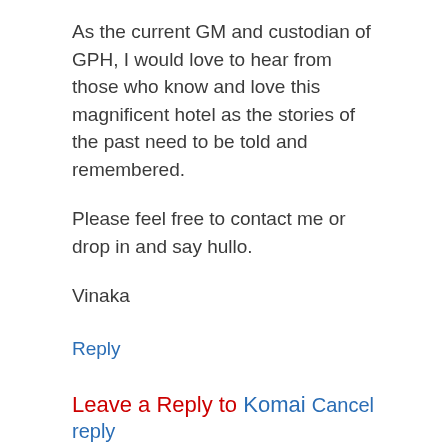As the current GM and custodian of GPH, I would love to hear from those who know and love this magnificent hotel as the stories of the past need to be told and remembered.
Please feel free to contact me or drop in and say hullo.
Vinaka
Reply
Leave a Reply to Komai Cancel reply
Your email address will not be published.